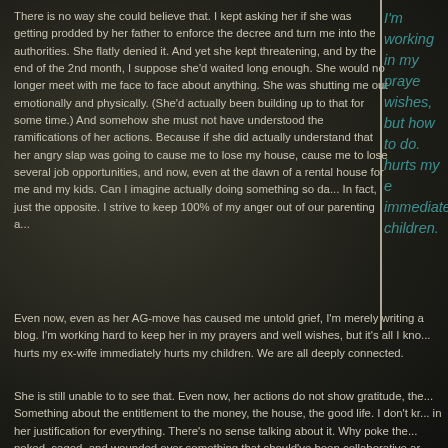There is no way she could believe that. I kept asking her if she was getting prodded by her father to enforce the decree and turn me into the authorities. She flatly denied it. And yet she kept threatening, and by the end of the 2nd month, I suppose she'd waited long enough. She would no longer meet with me face to face about anything. She was shutting me out emotionally and physically. (She'd actually been building up to that for some time.) And somehow she must not have understood the ramifications of her actions. Because if she did actually understand that her angry slap was going to cause me to lose my house, cause me to lose several job opportunities, and now, even at the dawn of a rental house for me and my kids. Can I imagine actually doing something so da... In fact, just the opposite. I strive to keep 100% of my anger out of our parenting a...
I'm working in my prayers and well wishes, but it how to do. A hurts my ex- immediately children.
Even now, even as her AG-move has caused me untold grief, I'm merely writing a... blog. I'm working hard to keep her in my prayers and well wishes, but it's all I kno... hurts my ex-wife immediately hurts my children. We are all deeply connected.
She is still unable to to see that. Even now, her actions do not show gratitude, the... Something about the entitlement to the money, the house, the good life. I don't kr... in her justification for everything. There's no sense talking about it. Why poke the... poked, caged, and wounded over something that should've been collaborative ar...